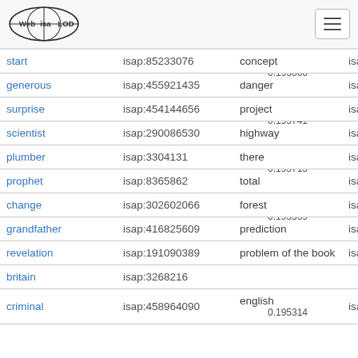Web isa LOD [logo] [menu button]
| word | isap id | word | isap id |
| --- | --- | --- | --- |
| start | isap:85233076 | concept | isap:70212268 |
| generous | isap:455921435 | danger [0.195806] | isap:49120263 |
| surprise | isap:454144656 | project | isap:72763829 |
| scientist | isap:290086530 | highway [0.195741] | isap:77509864 |
| plumber | isap:3304131 | there | isap:20344437 |
| prophet | isap:8365862 | total [0.195715] | isap:19605674 |
| change | isap:302602066 | forest | isap:49924527 |
| grandfather | isap:416825609 | prediction [0.195539] | isap:50518007 |
| revelation | isap:191090389 | problem of the book | isap:70456292 |
| britain | isap:3268216 |  |  |
| criminal | isap:458964090 | english [0.195314] | isap:71574101 |